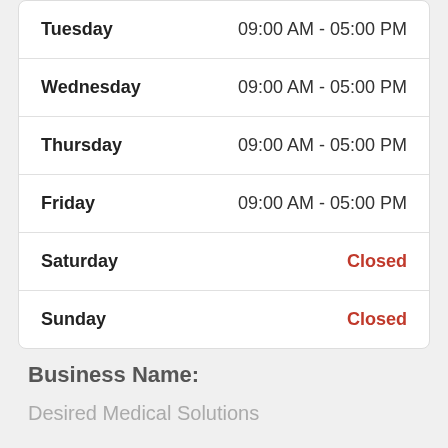| Day | Hours |
| --- | --- |
| Tuesday | 09:00 AM - 05:00 PM |
| Wednesday | 09:00 AM - 05:00 PM |
| Thursday | 09:00 AM - 05:00 PM |
| Friday | 09:00 AM - 05:00 PM |
| Saturday | Closed |
| Sunday | Closed |
Business Name:
Desired Medical Solutions